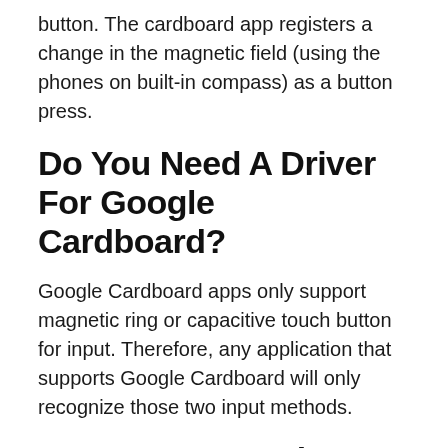button. The cardboard app registers a change in the magnetic field (using the phones on built-in compass) as a button press.
Do You Need A Driver For Google Cardboard?
Google Cardboard apps only support magnetic ring or capacitive touch button for input. Therefore, any application that supports Google Cardboard will only recognize those two input methods.
How Do I Control